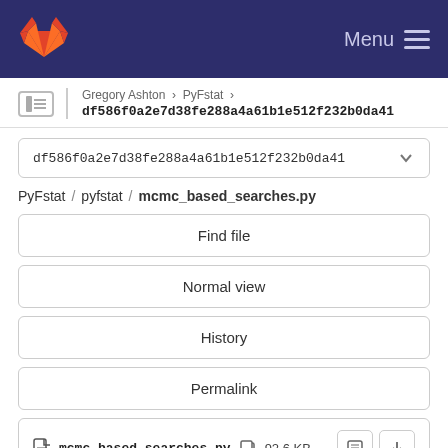Menu
Gregory Ashton > PyFstat > df586f0a2e7d38fe288a4a61b1e512f232b0da41
df586f0a2e7d38fe288a4a61b1e512f232b0da41
PyFstat / pyfstat / mcmc_based_searches.py
Find file
Normal view
History
Permalink
mcmc_based_searches.py  92.6 KB
Newer  Older